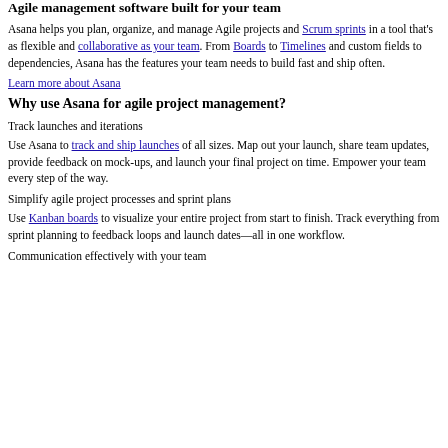Agile management software built for your team
Asana helps you plan, organize, and manage Agile projects and Scrum sprints in a tool that's as flexible and collaborative as your team. From Boards to Timelines and custom fields to dependencies, Asana has the features your team needs to build fast and ship often.
Learn more about Asana
Why use Asana for agile project management?
Track launches and iterations
Use Asana to track and ship launches of all sizes. Map out your launch, share team updates, provide feedback on mock-ups, and launch your final project on time. Empower your team every step of the way.
Simplify agile project processes and sprint plans
Use Kanban boards to visualize your entire project from start to finish. Track everything from sprint planning to feedback loops and launch dates—all in one workflow.
Communication effectively with your team